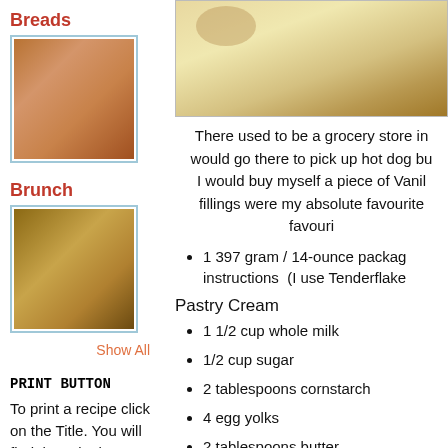[Figure (photo): Photo of pastry/flatbread on a floral plate in the top right of the page]
Breads
[Figure (photo): Thumbnail photo of breads]
Brunch
[Figure (photo): Thumbnail photo of brunch items]
Show All
PRINT BUTTON
To print a recipe click on the Title. You will find the Print button at the bottom of
There used to be a grocery store in... would go there to pick up hot dog bu... I would buy myself a piece of Vanil... fillings were my absolute favourite... favouri...
1 397 gram / 14-ounce package... instructions  (I use Tenderflake...
Pastry Cream
1 1/2 cup whole milk
1/2 cup sugar
2 tablespoons cornstarch
4 egg yolks
2 tablespoons butter
1/2 teaspoon vanilla bean pas...